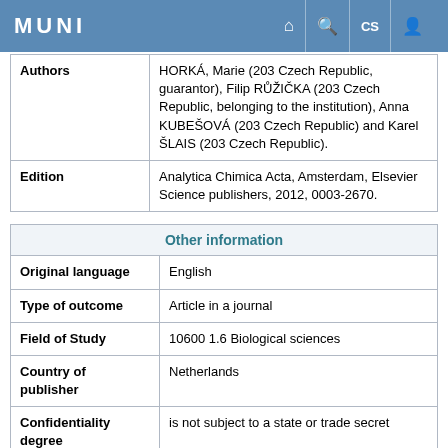MUNI
|  |  |
| --- | --- |
| Authors | HORKÁ, Marie (203 Czech Republic, guarantor), Filip RŮŽIČKA (203 Czech Republic, belonging to the institution), Anna KUBEŠOVÁ (203 Czech Republic) and Karel ŠLAIS (203 Czech Republic). |
| Edition | Analytica Chimica Acta, Amsterdam, Elsevier Science publishers, 2012, 0003-2670. |
| Other information |
| --- |
| Original language | English |
| Type of outcome | Article in a journal |
| Field of Study | 10600 1.6 Biological sciences |
| Country of publisher | Netherlands |
| Confidentiality degree | is not subject to a state or trade secret |